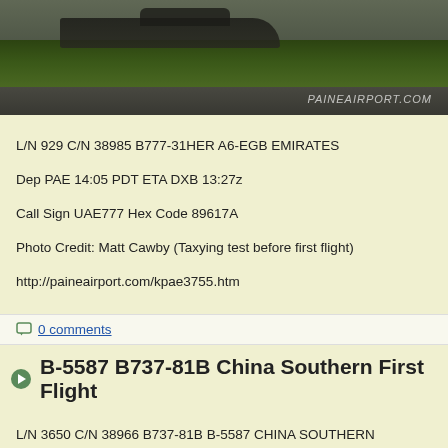[Figure (photo): Airplane taxiing on runway/tarmac at Paine Airport, with green grass in background. Watermark reads PAINEAIRPORT.COM]
L/N 929 C/N 38985 B777-31HER A6-EGB EMIRATES
Dep PAE 14:05 PDT ETA DXB 13:27z
Call Sign UAE777 Hex Code 89617A
Photo Credit: Matt Cawby (Taxying test before first flight)
http://paineairport.com/kpae3755.htm
0 comments
B-5587 B737-81B China Southern First Flight
L/N 3650 C/N 38966 B737-81B B-5587 CHINA SOUTHERN
Dep RNT 11:00 PDT Arr BFI 12:26 PDT via PAE
Call Sign BOE451 Hex Code 78074C Sel-Cal CM-HJ
0 comments
PR-GUG B737-8EH GOL flown back to Renton